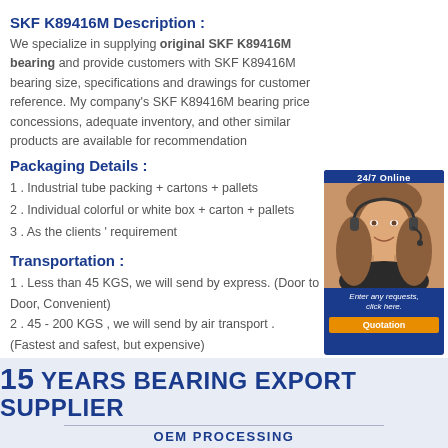SKF K89416M Description :
We specialize in supplying original SKF K89416M bearing and provide customers with SKF K89416M bearing size, specifications and drawings for customer reference. My company's SKF K89416M bearing price concessions, adequate inventory, and other similar products are available for recommendation
Packaging Details :
1 . Industrial tube packing + cartons + pallets
2 . Individual colorful or white box + carton + pallets
3 . As the clients ' requirement
[Figure (photo): Customer service representative with headset, 24/7 Online badge with Quotation button]
Transportation :
1 . Less than 45 KGS, we will send by express. (Door to Door, Convenient)
2 . 45 - 200 KGS , we will send by air transport . (Fastest and safest, but expensive)
3 . More than 200 KGS, we will send by sea . ( Cheapest and common use )
[Figure (infographic): 15 YEARS BEARING EXPORT SUPPLIER banner with OEM PROCESSING subtitle on light blue background]